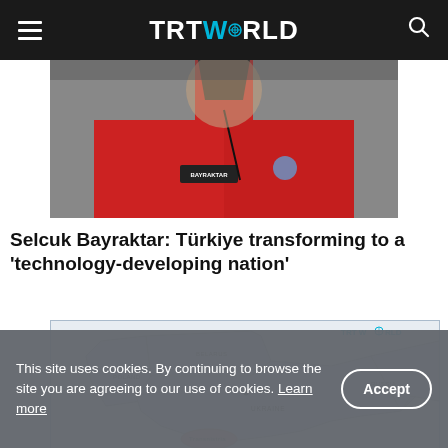TRT WORLD
[Figure (photo): Person wearing a red jacket with BAYRAKTAR patch, partially visible, close-up torso shot]
Selcuk Bayraktar: Türkiye transforming to a 'technology-developing nation'
[Figure (map): Map showing Ukraine and surrounding countries including Belarus, Poland, Russia, with Kiev marked and Transnistria region highlighted. TRT WORLD watermark visible.]
This site uses cookies. By continuing to browse the site you are agreeing to our use of cookies. Learn more